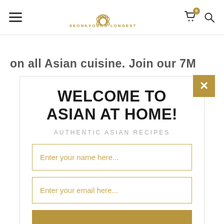[Figure (screenshot): Website navbar with hamburger menu, lotus/flower logo with text 'SEONKYOUNG LONGEST', shopping cart icon with badge '0', and search icon]
on all Asian cuisine. Join our 7M
WELCOME TO ASIAN AT HOME!
AUTHENTIC ASIAN RECIPES
Enter your name here...
Enter your email here...
SIGN UP